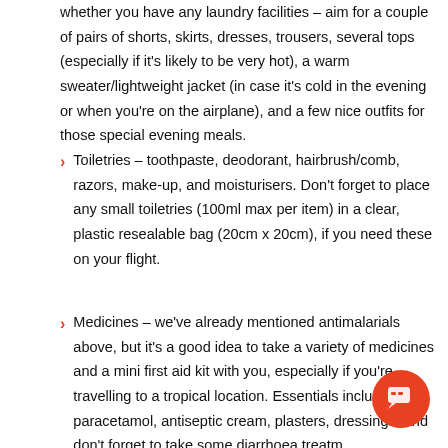whether you have any laundry facilities – aim for a couple of pairs of shorts, skirts, dresses, trousers, several tops (especially if it's likely to be very hot), a warm sweater/lightweight jacket (in case it's cold in the evening or when you're on the airplane), and a few nice outfits for those special evening meals.
Toiletries – toothpaste, deodorant, hairbrush/comb, razors, make-up, and moisturisers. Don't forget to place any small toiletries (100ml max per item) in a clear, plastic resealable bag (20cm x 20cm), if you need these on your flight.
Medicines – we've already mentioned antimalarials above, but it's a good idea to take a variety of medicines and a mini first aid kit with you, especially if you're travelling to a tropical location. Essentials include paracetamol, antiseptic cream, plasters, dressings, and don't forget to take some diarrhoea treatment if you're not travelling too far, a change in water can cause an upset...